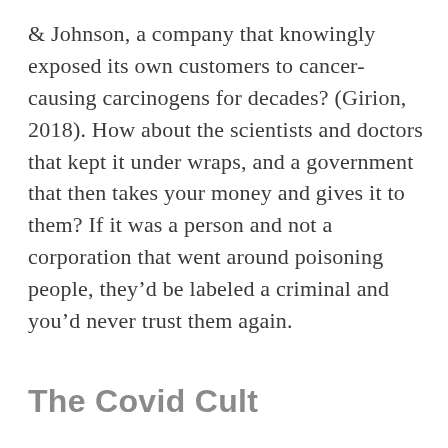& Johnson, a company that knowingly exposed its own customers to cancer-causing carcinogens for decades? (Girion, 2018). How about the scientists and doctors that kept it under wraps, and a government that then takes your money and gives it to them? If it was a person and not a corporation that went around poisoning people, they’d be labeled a criminal and you’d never trust them again.
The Covid Cult